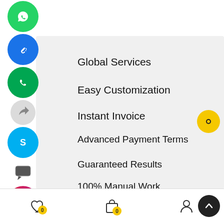[Figure (infographic): Social media share icons column on the left side: WhatsApp (green), link/chain (blue), phone (green), share arrows, Skype (blue), chat bubble, Instagram (pink/orange gradient), LinkedIn (blue), laptop/computer, Twitter (light blue), close X (dark blue)]
Global Services
Easy Customization
Instant Invoice
Advanced Payment Terms
Guaranteed Results
100% Manual Work
Regular Support & Updates
[Figure (infographic): Bottom navigation bar with heart/wishlist icon (badge 0), shopping bag icon (badge 0), and person/account icon. Yellow chat bubble on right side. Dark scroll-to-top button.]